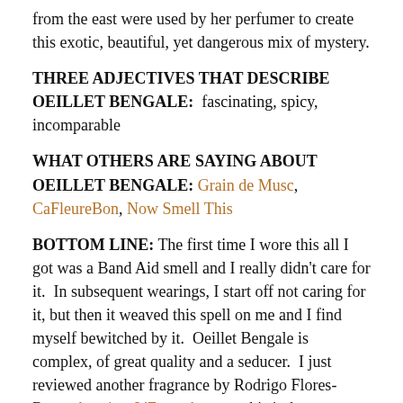from the east were used by her perfumer to create this exotic, beautiful, yet dangerous mix of mystery.
THREE ADJECTIVES THAT DESCRIBE OEILLET BENGALE:  fascinating, spicy, incomparable
WHAT OTHERS ARE SAYING ABOUT OEILLET BENGALE: Grain de Musc, CaFleureBon, Now Smell This
BOTTOM LINE: The first time I wore this all I got was a Band Aid smell and I really didn't care for it.  In subsequent wearings, I start off not caring for it, but then it weaved this spell on me and I find myself bewitched by it.  Oeillet Bengale is complex, of great quality and a seducer.  I just reviewed another fragrance by Rodrigo Flores-Roux, Arquiste L'Etrog Acqua...this it the exact opposite of that on every level and what an incredible addition to his line of creations.